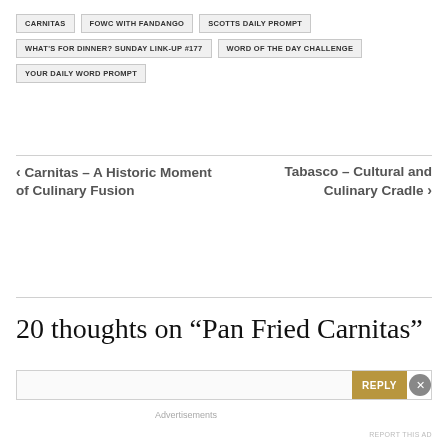CARNITAS
FOWC WITH FANDANGO
SCOTTS DAILY PROMPT
WHAT'S FOR DINNER? SUNDAY LINK-UP #177
WORD OF THE DAY CHALLENGE
YOUR DAILY WORD PROMPT
‹ Carnitas – A Historic Moment of Culinary Fusion
Tabasco – Cultural and Culinary Cradle ›
20 thoughts on “Pan Fried Carnitas”
REPLY
Advertisements